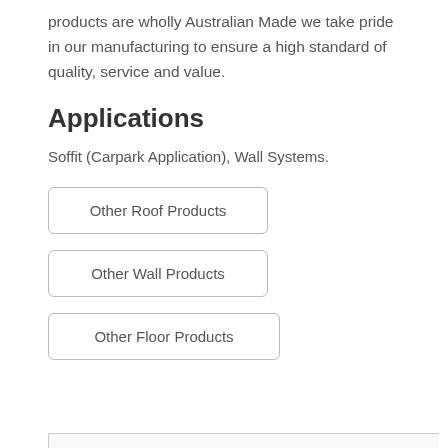products are wholly Australian Made we take pride in our manufacturing to ensure a high standard of quality, service and value.
Applications
Soffit (Carpark Application), Wall Systems.
Other Roof Products
Other Wall Products
Other Floor Products